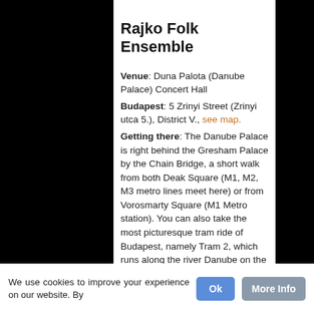Rajko Folk Ensemble
Venue: Duna Palota (Danube Palace) Concert Hall Budapest: 5 Zrinyi Street (Zrinyi utca 5.), District V., see map. Getting there: The Danube Palace is right behind the Gresham Palace by the Chain Bridge, a short walk from both Deak Square (M1, M2, M3 metro lines meet here) or from Vorosmarty Square (M1 Metro station). You can also take the most picturesque tram ride of Budapest, namely Tram 2, which runs along the river Danube on the Pest side (stops at all bridges and in between too). Get off at Szechenyi Istvan Square (former Roosevelt Square) just near the Chain Bridge.
[Figure (photo): Black background with performers' heads visible at the bottom of the frame]
We use cookies to improve your experience on our website. By